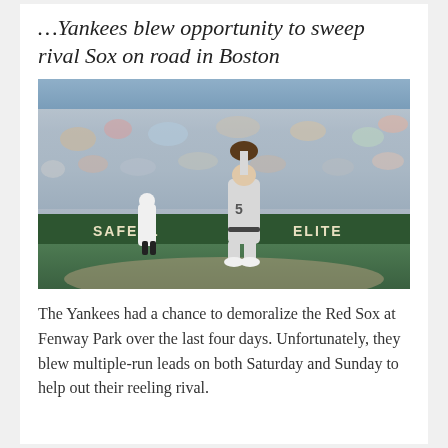…Yankees blew opportunity to sweep rival Sox on road in Boston
[Figure (photo): A Yankees pitcher (wearing gray uniform with number 5) stands on the mound at Fenway Park, looking skyward with his glove raised, as a Red Sox baserunner rounds the bases in the background. The stands are full of fans and the green wall is visible behind the infield.]
The Yankees had a chance to demoralize the Red Sox at Fenway Park over the last four days. Unfortunately, they blew multiple-run leads on both Saturday and Sunday to help out their reeling rival.